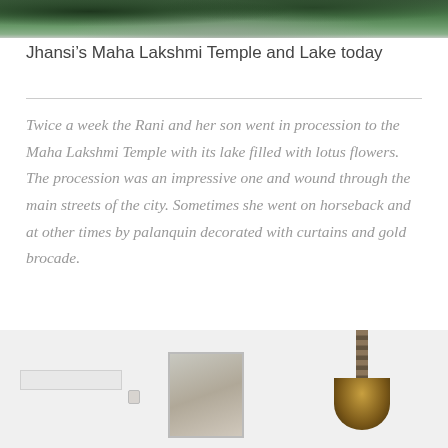[Figure (photo): Top portion of a photograph showing Jhansi's Maha Lakshmi Temple and Lake with trees visible]
Jhansi’s Maha Lakshmi Temple and Lake today
Twice a week the Rani and her son went in procession to the Maha Lakshmi Temple with its lake filled with lotus flowers. The procession was an impressive one and wound through the main streets of the city. Sometimes she went on horseback and at other times by palanquin decorated with curtains and gold brocade.
[Figure (photo): Bottom portion of a photograph showing an interior room with a framed portrait on the wall and a hanging brass oil lamp]